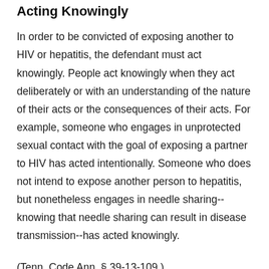Acting Knowingly
In order to be convicted of exposing another to HIV or hepatitis, the defendant must act knowingly. People act knowingly when they act deliberately or with an understanding of the nature of their acts or the consequences of their acts. For example, someone who engages in unprotected sexual contact with the goal of exposing a partner to HIV has acted intentionally. Someone who does not intend to expose another person to hepatitis, but nonetheless engages in needle sharing--knowing that needle sharing can result in disease transmission--has acted knowingly.
(Tenn. Code Ann. § 39-13-109.)
Consent